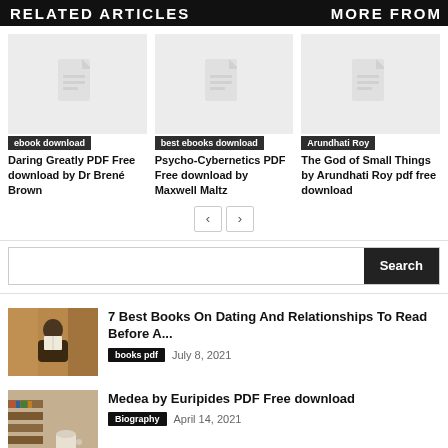RELATED ARTICLES   MORE FROM
[Figure (illustration): Document placeholder icon for ebook download card]
ebook download
Daring Greatly PDF Free download by Dr Brené Brown
[Figure (illustration): Document placeholder icon for best ebooks download card]
best ebooks download
Psycho-Cybernetics PDF Free download by Maxwell Maltz
[Figure (illustration): Document placeholder icon for Arundhati Roy card]
Arundhati Roy
The God of Small Things by Arundhati Roy pdf free download
‹  ›
[Figure (screenshot): Search input field with Search button]
[Figure (photo): Person reading a book]
7 Best Books On Dating And Relationships To Read Before A...
books pdf   July 8, 2021
[Figure (photo): Books and coffee cup on table]
Medea by Euripides PDF Free download
Biography   April 14, 2021